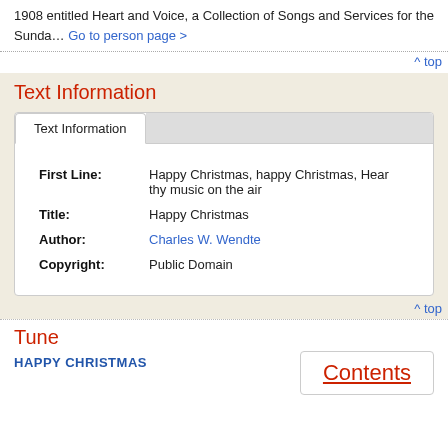1908 entitled Heart and Voice, a Collection of Songs and Services for the Sunda… Go to person page >
^ top
Text Information
| Field | Value |
| --- | --- |
| First Line: | Happy Christmas, happy Christmas, Hear thy music on the air |
| Title: | Happy Christmas |
| Author: | Charles W. Wendte |
| Copyright: | Public Domain |
^ top
Tune
HAPPY CHRISTMAS
Contents